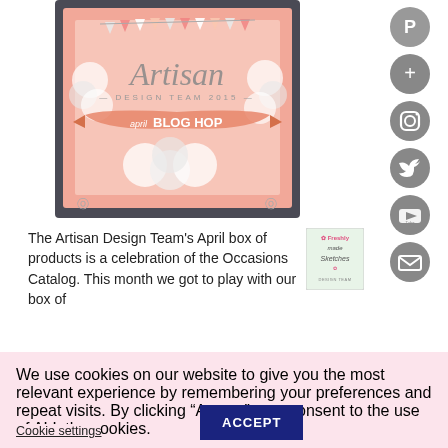[Figure (illustration): Artisan Design Team 2015 April Blog Hop promotional image on a dark gray card background with pink banner, floral decorations, and bunting flags]
The Artisan Design Team's April box of products is a celebration of the Occasions Catalog. This month we got to play with our box of
[Figure (logo): Freshly Made Sketches Design Team badge - small square logo with pink and green floral details]
[Figure (infographic): Sidebar social media icons: Pinterest, Google+, Instagram, Twitter, YouTube, Email - all gray circular buttons]
We use cookies on our website to give you the most relevant experience by remembering your preferences and repeat visits. By clicking “Accept”, you consent to the use of ALL the cookies.
Cookie settings
ACCEPT